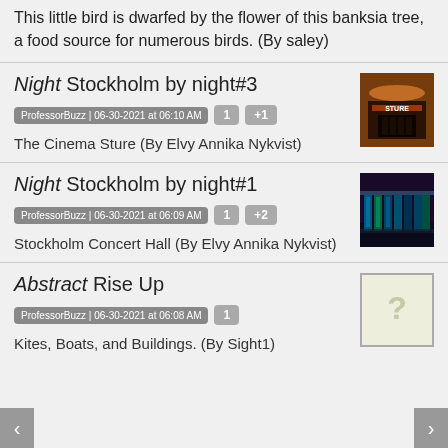This little bird is dwarfed by the flower of this banksia tree, a food source for numerous birds. (By saley)
Night Stockholm by night#3
ProfessorBuzz | 06-30-2021 at 06:10 AM   1   +1
The Cinema Sture (By Elvy Annika Nykvist)
[Figure (photo): Photo of Cinema Sture at night with illuminated signage]
Night Stockholm by night#1
ProfessorBuzz | 06-30-2021 at 06:09 AM   1   +2
Stockholm Concert Hall (By Elvy Annika Nykvist)
[Figure (photo): Photo of Stockholm Concert Hall at night with blue and green lighting]
Abstract Rise Up
ProfessorBuzz | 06-30-2021 at 06:08 AM   1
Kites, Boats, and Buildings. (By Sight1)
[Figure (photo): Placeholder image with question mark]